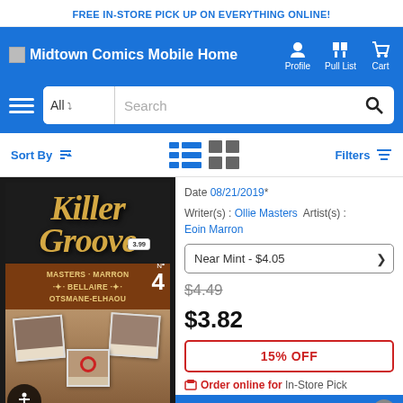FREE IN-STORE PICK UP ON EVERYTHING ONLINE!
[Figure (screenshot): Midtown Comics Mobile Home navigation bar with logo, Profile, Pull List, and Cart icons on blue background]
[Figure (screenshot): Search bar with All dropdown, Search text field, and search icon on blue background with hamburger menu]
Sort By  Filters
[Figure (photo): Killer Groove #4 comic book cover featuring title in gold retro lettering, credits for Masters, Marron, Bellaire, Otsmane-Elhaou, with polaroid photo collage imagery]
Date 08/21/2019*
Writer(s) : Ollie Masters  Artist(s) : Eoin Marron
Near Mint - $4.05
$4.49
$3.82
15% OFF
Order online for In-Store Pick
ADD TO CART